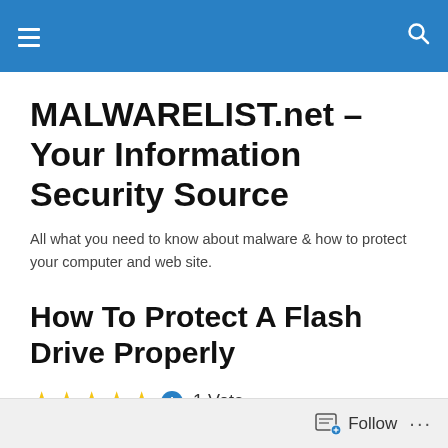MALWARELIST.net
MALWARELIST.net – Your Information Security Source
All what you need to know about malware & how to protect your computer and web site.
How To Protect A Flash Drive Properly
1 Vote
[Figure (illustration): Red triangle/chevron logo partially visible at bottom of page]
Follow